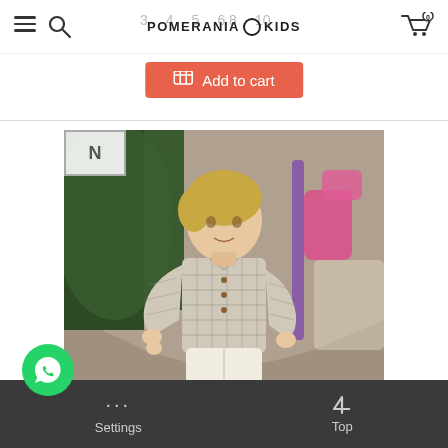POMERANIA KIDS navigation header with hamburger menu, search icon, logo, and cart icon
3  4  5  6  8  10 (size selector numbers)
[Figure (other): Red/coral Add to cart button with shopping cart icon]
[Figure (photo): Young toddler boy wearing a plaid long-sleeve shirt with white shorts and dark knee-high socks, standing on a cobblestone path with tropical greenery and pink furniture in background. There is a small bookmark/label overlay in top-left corner with the letter N.]
Settings  Top — dark bottom toolbar with WhatsApp floating button